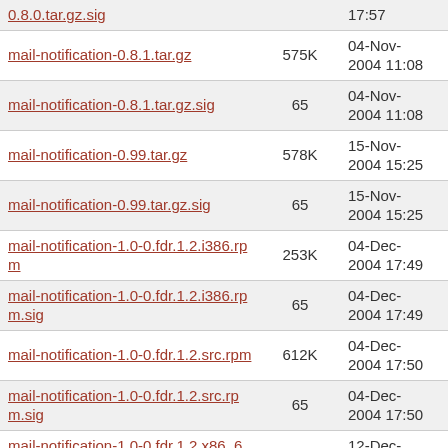| Name | Size | Date |
| --- | --- | --- |
| 0.8.0.tar.gz.sig |  | 17:57 |
| mail-notification-0.8.1.tar.gz | 575K | 04-Nov-2004 11:08 |
| mail-notification-0.8.1.tar.gz.sig | 65 | 04-Nov-2004 11:08 |
| mail-notification-0.99.tar.gz | 578K | 15-Nov-2004 15:25 |
| mail-notification-0.99.tar.gz.sig | 65 | 15-Nov-2004 15:25 |
| mail-notification-1.0-0.fdr.1.2.i386.rpm | 253K | 04-Dec-2004 17:49 |
| mail-notification-1.0-0.fdr.1.2.i386.rpm.sig | 65 | 04-Dec-2004 17:49 |
| mail-notification-1.0-0.fdr.1.2.src.rpm | 612K | 04-Dec-2004 17:50 |
| mail-notification-1.0-0.fdr.1.2.src.rpm.sig | 65 | 04-Dec-2004 17:50 |
| mail-notification-1.0-0.fdr.1.2.x86_64.rpm | 266K | 12-Dec-2004 01:17 |
| mail-notification-1.0-0.fdr.1.2.x86_64.rpm.sig | 65 | 12-Dec-2004 01:17 |
| mail-notification-1.0.tar.gz | 608K | 25-Nov-2004 00:56 |